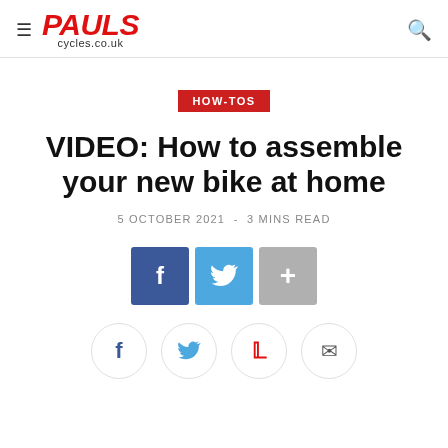PAULS cycles.co.uk
HOW-TOS
VIDEO: How to assemble your new bike at home
5 OCTOBER 2021 - 3 MINS READ
[Figure (infographic): Social share buttons: Facebook (blue square with f), Twitter (light blue square with bird), More (grey square with +), and below: Facebook, Twitter, Pinterest, Email circle icon buttons]
[Figure (infographic): Row of circle social share icons: f (Facebook), bird (Twitter), P (Pinterest), envelope (email)]